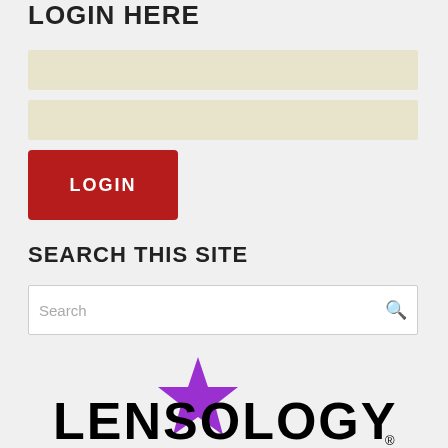LOGIN HERE
[Figure (screenshot): Username input field with beige/cream background]
[Figure (screenshot): Password input field with beige/cream background]
[Figure (screenshot): Red LOGIN button]
SEARCH THIS SITE
[Figure (screenshot): Search input box with placeholder text 'Search' and a search icon on the right]
[Figure (logo): Lensology logo: purple star shape behind bold black text LENSOLOGY with registered trademark symbol]